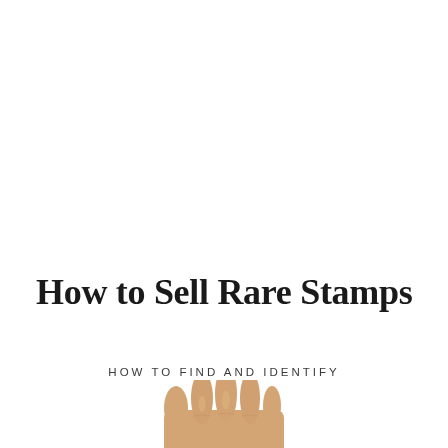How to Sell Rare Stamps
HOW TO FIND AND IDENTIFY
[Figure (photo): A hand (fingers visible, warm skin tone) appearing from the bottom of the page, partially cropped]